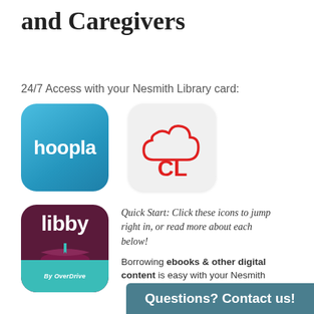and Caregivers
24/7 Access with your Nesmith Library card:
[Figure (logo): Hoopla app icon: blue rounded square with 'hoopla' in white text]
[Figure (logo): Cloudlibrary (CL) app icon: white rounded square with red cloud outline and red 'CL' letters]
[Figure (logo): Libby by OverDrive app icon: dark maroon rounded square with 'libby' in white text and teal bottom section reading 'By OverDrive']
Quick Start: Click these icons to jump right in, or read more about each below!
Borrowing ebooks & other digital content is easy with your Nesmith
Questions? Contact us!